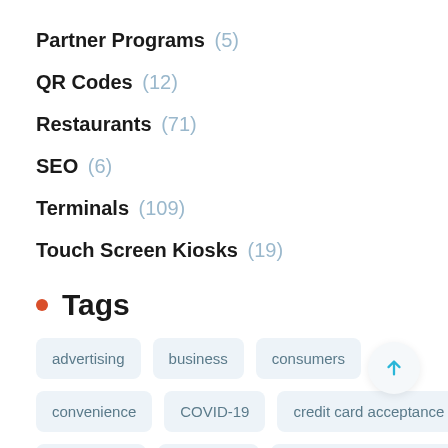Partner Programs (5)
QR Codes (12)
Restaurants (71)
SEO (6)
Terminals (109)
Touch Screen Kiosks (19)
Tags
advertising
business
consumers
convenience
COVID-19
credit card acceptance
credit cards
customers
customer satisfaction